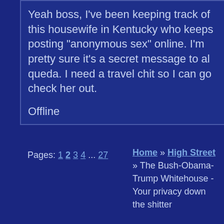Yeah boss, I've been keeping track of this housewife in Kentucky who keeps posting "anonymous sex" online. I'm pretty sure it's a secret message to al queda.  I need a travel chit so I can go check her out.

Offline
Pages: 1 2 3 4 ... 27
Home » High Street » The Bush-Obama-Trump Whitehouse - Your privacy down the shitter